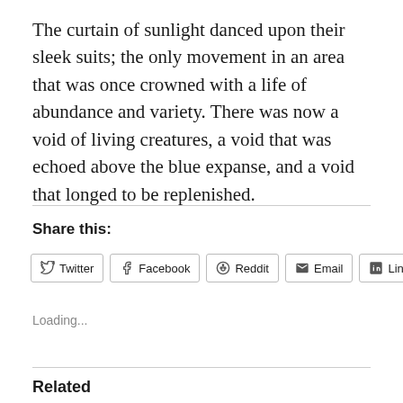The curtain of sunlight danced upon their sleek suits; the only movement in an area that was once crowned with a life of abundance and variety. There was now a void of living creatures, a void that was echoed above the blue expanse, and a void that longed to be replenished.
Share this:
Twitter  Facebook  Reddit  Email  LinkedIn
Loading...
Related